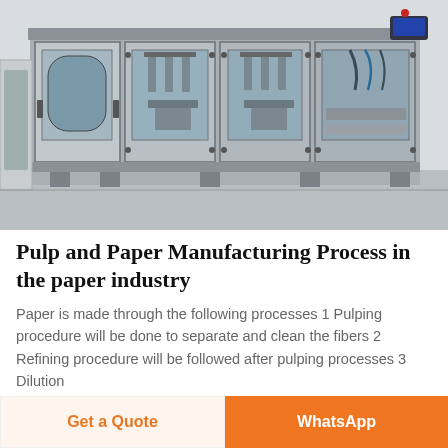[Figure (photo): Industrial pulp and paper manufacturing machine — large stainless steel multi-section filling/processing machine with glass panels and mechanical components, photographed in a factory setting]
Pulp and Paper Manufacturing Process in the paper industry
Paper is made through the following processes 1 Pulping procedure will be done to separate and clean the fibers 2 Refining procedure will be followed after pulping processes 3 Dilution